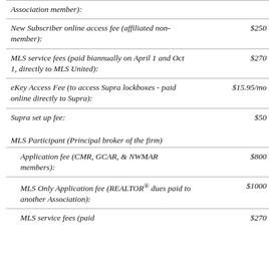| Description | Fee |
| --- | --- |
| Association member): |  |
| New Subscriber online access fee (affiliated non-member): | $250 |
| MLS service fees (paid biannually on April 1 and Oct 1, directly to MLS United): | $270 |
| eKey Access Fee (to access Supra lockboxes - paid online directly to Supra): | $15.95/mo |
| Supra set up fee: | $50 |
| MLS Participant (Principal broker of the firm) |  |
| Application fee (CMR, GCAR, & NWMAR members): | $800 |
| MLS Only Application fee (REALTOR® dues paid to another Association): | $1000 |
| MLS service fees (paid | $270 |